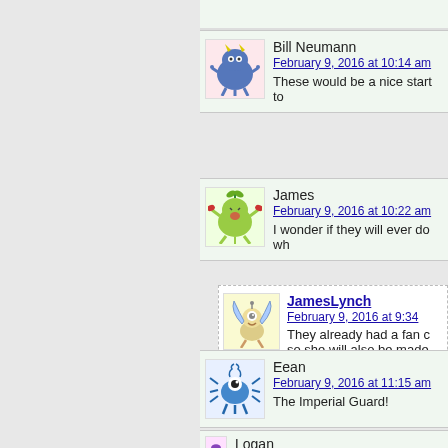Bill Neumann
February 9, 2016 at 10:14 am
These would be a nice start to
[Figure (illustration): Blue monster avatar with yellow horns]
James
February 9, 2016 at 10:22 am
I wonder if they will ever do wh
[Figure (illustration): Green plant/crab monster avatar]
JamesLynch
February 9, 2016 at 9:34
They already had a fan c… so she will also be made.
[Figure (illustration): Winged creature avatar]
Eean
February 9, 2016 at 11:15 am
The Imperial Guard!
[Figure (illustration): Blue spider/crab creature avatar]
Logan
February 9, 2016 at 11:37 am
[Figure (illustration): Purple monster avatar]